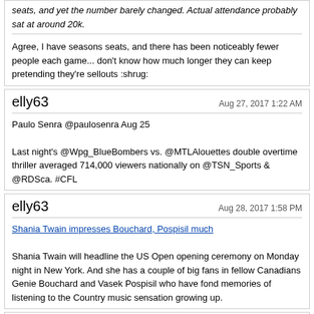seats, and yet the number barely changed. Actual attendance probably sat at around 20k.
Agree, I have seasons seats, and there has been noticeably fewer people each game... don't know how much longer they can keep pretending they're sellouts :shrug:
elly63 — Aug 27, 2017 1:22 AM
Paulo Senra @paulosenra Aug 25
Last night's @Wpg_BlueBombers vs. @MTLAlouettes double overtime thriller averaged 714,000 viewers nationally on @TSN_Sports & @RDSca. #CFL
elly63 — Aug 28, 2017 1:58 PM
Shania Twain impresses Bouchard, Pospisil much
Shania Twain will headline the US Open opening ceremony on Monday night in New York. And she has a couple of big fans in fellow Canadians Genie Bouchard and Vasek Pospisil who have fond memories of listening to the Country music sensation growing up.